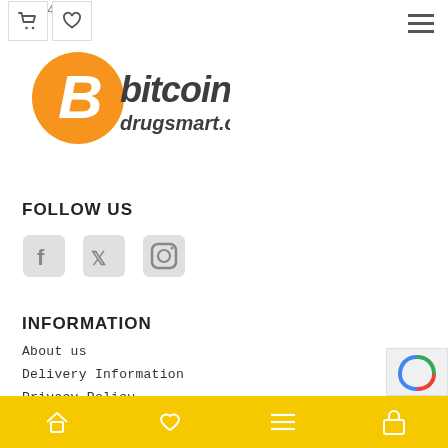$10.45
[Figure (logo): Bitcoin Drugsmart.com logo with orange bitcoin symbol and dark gray text]
FOLLOW US
[Figure (infographic): Social media icons: Facebook, Twitter, Instagram in gray rounded square style]
INFORMATION
About us
Delivery Information
Privacy Policy
Terms & Conditions
FAQ
Home | Wishlist | Menu | Account